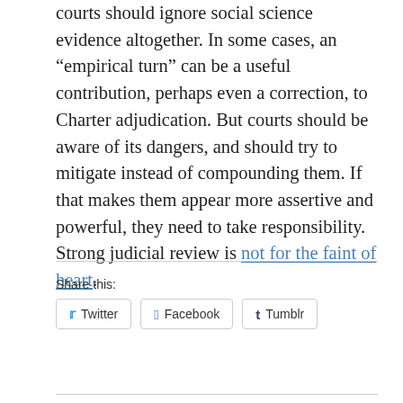courts should ignore social science evidence altogether. In some cases, an “empirical turn” can be a useful contribution, perhaps even a correction, to Charter adjudication. But courts should be aware of its dangers, and should try to mitigate instead of compounding them. If that makes them appear more assertive and powerful, they need to take responsibility. Strong judicial review is not for the faint of heart.
Share this:
Twitter
Facebook
Tumblr